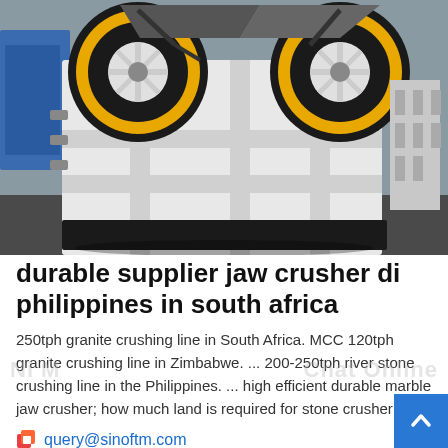[Figure (photo): Industrial jaw crusher machine with large yellow and black flywheels, white metal frame structure, photographed in a factory/industrial setting.]
durable supplier jaw crusher di philippines in south africa
250tph granite crushing line in South Africa. MCC 120tph granite crushing line in Zimbabwe. ... 200-250tph river stone crushing line in the Philippines. ... high efficient durable marble jaw crusher; how much land is required for stone crusher;
query@sinoftm.com